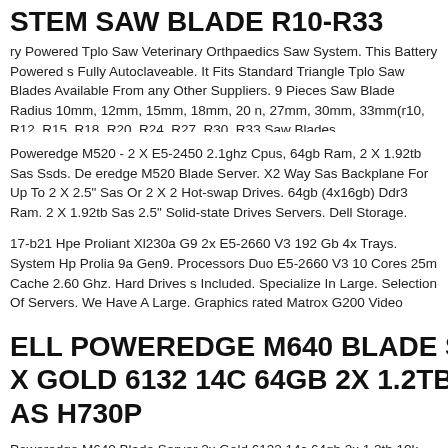STEM SAW BLADE R10-R33
ry Powered Tplo Saw Veterinary Orthpaedics Saw System. This Battery Powered s Fully Autoclaveable. It Fits Standard Triangle Tplo Saw Blades Available From any Other Suppliers. 9 Pieces Saw Blade Radius 10mm, 12mm, 15mm, 18mm, 20 n, 27mm, 30mm, 33mm(r10, R12, R15, R18, R20, R24, R27, R30, R33 Saw Blades
Poweredge M520 - 2 X E5-2450 2.1ghz Cpus, 64gb Ram, 2 X 1.92tb Sas Ssds. De eredge M520 Blade Server. X2 Way Sas Backplane For Up To 2 X 2.5" Sas Or 2 X 2 Hot-swap Drives. 64gb (4x16gb) Ddr3 Ram. 2 X 1.92tb Sas 2.5" Solid-state Drives Servers. Dell Storage.
17-b21 Hpe Proliant Xl230a G9 2x E5-2660 V3 192 Gb 4x Trays. System Hp Prolia 9a Gen9. Processors Duo E5-2660 V3 10 Cores 25m Cache 2.60 Ghz. Hard Drives s Included. Specialize In Large. Selection Of Servers. We Have A Large. Graphics rated Matrox G200 Video Standard.
ELL POWEREDGE M640 BLADE SERVE X GOLD 6132 14C 64GB 2X 1.2TB 10K AS H730P
Poweredge M640 Blade Server 2x Gold 6132 14c 64gb 2x 1.2tb 10k Sas H730p.